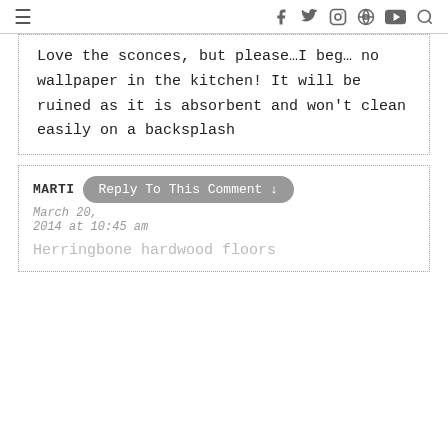≡  f  𝕥  ⊙  ℗  ▶  🔍
Love the sconces, but please…I beg… no wallpaper in the kitchen! It will be ruined as it is absorbent and won't clean easily on a backsplash
MARTI
March 20, 2014 at 10:45 am
Herringbone hardwood floors